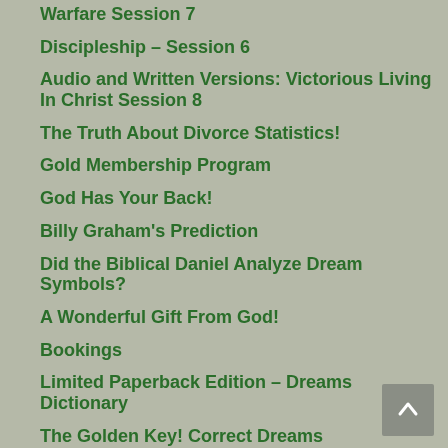Warfare Session 7
Discipleship – Session 6
Audio and Written Versions: Victorious Living In Christ Session 8
The Truth About Divorce Statistics!
Gold Membership Program
God Has Your Back!
Billy Graham's Prediction
Did the Biblical Daniel Analyze Dream Symbols?
A Wonderful Gift From God!
Bookings
Limited Paperback Edition – Dreams Dictionary
The Golden Key! Correct Dreams Interpretation